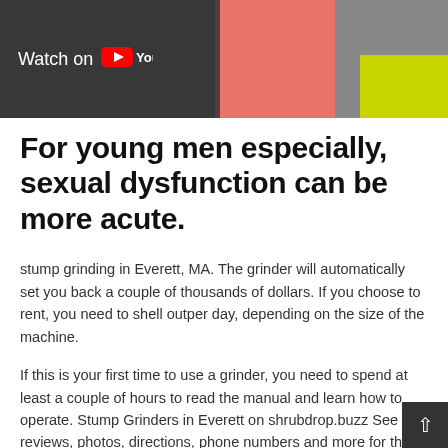[Figure (screenshot): YouTube video thumbnail banner showing 'Watch on YouTube' overlay on left side, with colorful background (pink/skin tones and yellow-green) on the right side]
For young men especially, sexual dysfunction can be more acute.
stump grinding in Everett, MA. The grinder will automatically set you back a couple of thousands of dollars. If you choose to rent, you need to shell outper day, depending on the size of the machine.
If this is your first time to use a grinder, you need to spend at least a couple of hours to read the manual and learn how to operate. Stump Grinders in Everett on shrubdrop.buzz See reviews, photos, directions, phone numbers and more for the best Stu